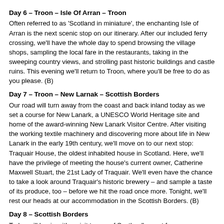Day 6 – Troon – Isle Of Arran – Troon
Often referred to as 'Scotland in miniature', the enchanting Isle of Arran is the next scenic stop on our itinerary. After our included ferry crossing, we'll have the whole day to spend browsing the village shops, sampling the local fare in the restaurants, taking in the sweeping country views, and strolling past historic buildings and castle ruins. This evening we'll return to Troon, where you'll be free to do as you please. (B)
Day 7 – Troon – New Larnak – Scottish Borders
Our road will turn away from the coast and back inland today as we set a course for New Lanark, a UNESCO World Heritage site and home of the award-winning New Lanark Visitor Centre. After visiting the working textile machinery and discovering more about life in New Lanark in the early 19th century, we'll move on to our next stop: Traquair House, the oldest inhabited house in Scotland. Here, we'll have the privilege of meeting the house's current owner, Catherine Maxwell Stuart, the 21st Lady of Traquair. We'll even have the chance to take a look around Traquair's historic brewery – and sample a taste of its produce, too – before we hit the road once more. Tonight, we'll rest our heads at our accommodation in the Scottish Borders. (B)
Day 8 – Scottish Borders
Today will begin with a visit to one of Scotland's most famous landmarks: Melrose Abbey, the final resting place of the heart of Robert the Bruce. Don't forget to look out for the famous bagpipe-